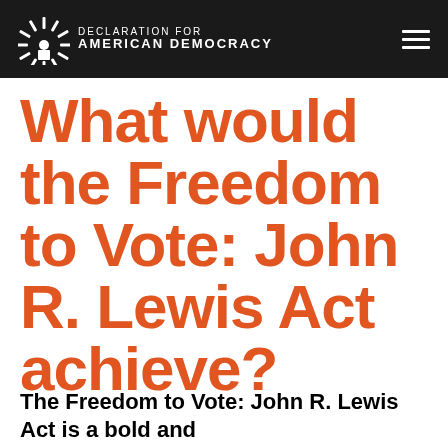DECLARATION FOR AMERICAN DEMOCRACY
What would the Freedom to Vote: John R. Lewis Act achieve?
The Freedom to Vote: John R. Lewis Act is a bold and transformational legislation